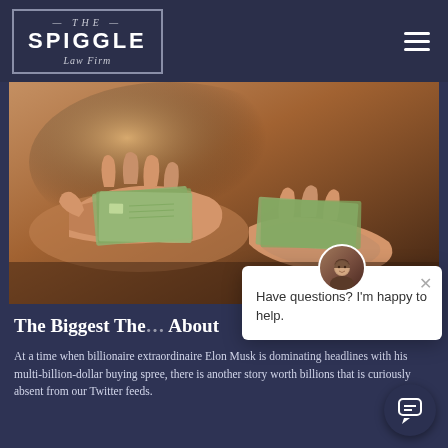THE SPIGGLE Law Firm
[Figure (photo): Hands exchanging dollar bills — close-up of money changing hands on a wooden surface]
The Biggest The... About
At a time when billionaire extraordinaire Elon Musk is dominating headlines with his multi-billion-dollar buying spree, there is another story worth billions that is curiously absent from our Twitter feeds.